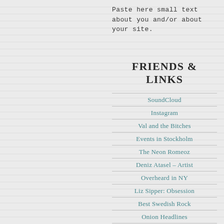Paste here small text about you and/or about your site.
FRIENDS & LINKS
SoundCloud
Instagram
Val and the Bitches
Events in Stockholm
The Neon Romeoz
Deniz Atasel – Artist
Overheard in NY
Liz Sipper: Obsession
Best Swedish Rock
Onion Headlines
Lifehacker
HandPan.org